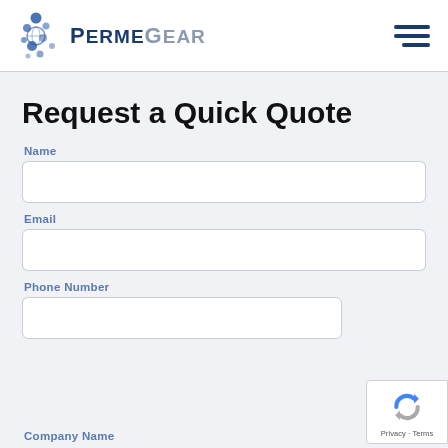[Figure (logo): PermeGear logo with blue molecule/bubble icon and company name in dark blue and gray text]
Request a Quick Quote
Name
Email
Phone Number
Company Name